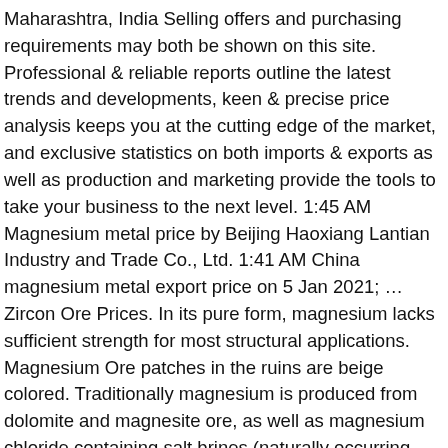Maharashtra, India Selling offers and purchasing requirements may both be shown on this site. Professional & reliable reports outline the latest trends and developments, keen & precise price analysis keeps you at the cutting edge of the market, and exclusive statistics on both imports & exports as well as production and marketing provide the tools to take your business to the next level. 1:45 AM Magnesium metal price by Beijing Haoxiang Lantian Industry and Trade Co., Ltd. 1:41 AM China magnesium metal export price on 5 Jan 2021; … Zircon Ore Prices. In its pure form, magnesium lacks sufficient strength for most structural applications. Magnesium Ore patches in the ruins are beige colored. Traditionally magnesium is produced from dolomite and magnesite ore, as well as magnesium chloride containing salt brines (naturally occurring salt deposits). „ ~ My Time at Portia: Magnesium Ore is produced from this Portia...